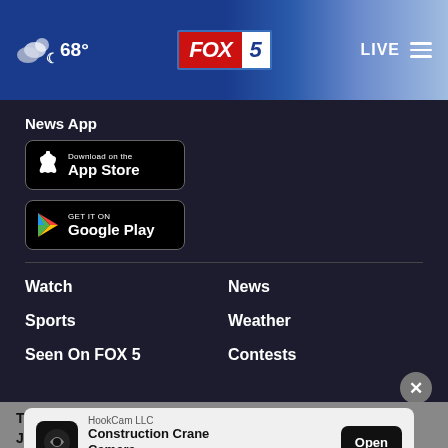68° FOX 5 LIVE
News App
[Figure (screenshot): Download on the App Store button]
[Figure (screenshot): GET IT ON Google Play button]
Watch
News
Sports
Weather
Seen On FOX 5
Contests
The L... Jobs ... Sustainable San Diego
[Figure (screenshot): Advertisement banner: HookCam LLC Construction Crane Camera with Open button]